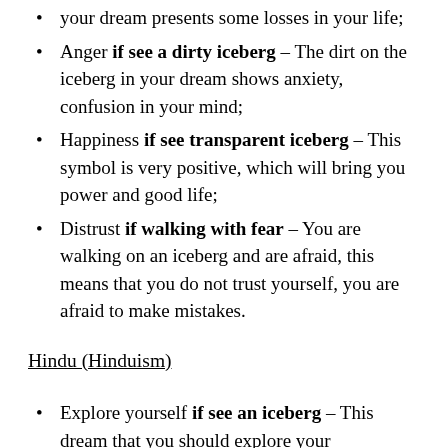Loss if see a big one – The huge of big iceberg in your dream presents some losses in your life;
Anger if see a dirty iceberg – The dirt on the iceberg in your dream shows anxiety, confusion in your mind;
Happiness if see transparent iceberg – This symbol is very positive, which will bring you power and good life;
Distrust if walking with fear – You are walking on an iceberg and are afraid, this means that you do not trust yourself, you are afraid to make mistakes.
Hindu (Hinduism)
Explore yourself if see an iceberg – This dream that you should explore your subconscious mind,there are lots of answers for you;
Hidden feelings if stand and freeze from cold – This dream is a sign that you are very cold with